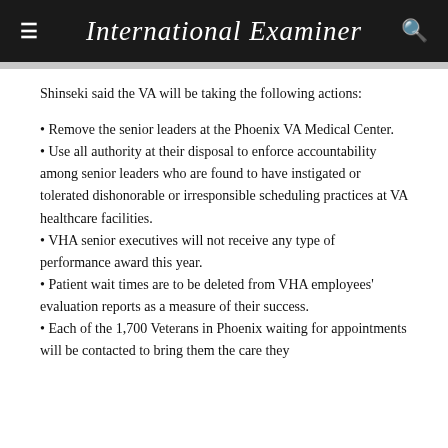International Examiner
Shinseki said the VA will be taking the following actions:
Remove the senior leaders at the Phoenix VA Medical Center.
Use all authority at their disposal to enforce accountability among senior leaders who are found to have instigated or tolerated dishonorable or irresponsible scheduling practices at VA healthcare facilities.
VHA senior executives will not receive any type of performance award this year.
Patient wait times are to be deleted from VHA employees' evaluation reports as a measure of their success.
Each of the 1,700 Veterans in Phoenix waiting for appointments will be contacted to bring them the care they